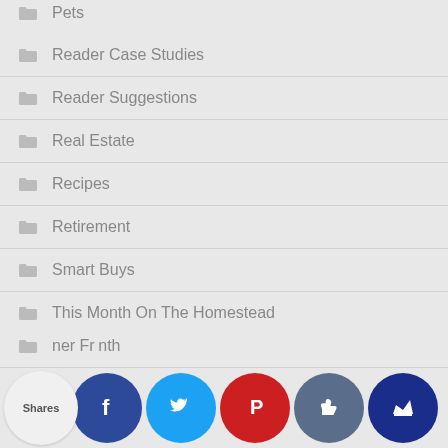Pets
Reader Case Studies
Reader Suggestions
Real Estate
Recipes
Retirement
Smart Buys
This Month On The Homestead
Travel
Shares